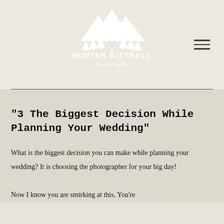[Figure (logo): Hunter Kittrell Photography logo with mountain/tree silhouette in white]
"3 The Biggest Decision While Planning Your Wedding"
What is the biggest decision you can make while planning your wedding? It is choosing the photographer for your big day!

Now I know you are smirking at this. You're